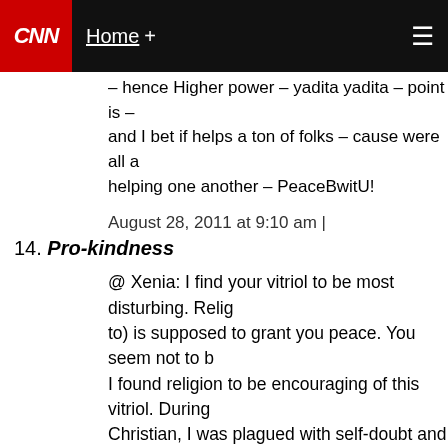CNN | Home +
– hence Higher power – yadita yadita – point is – and I bet if helps a ton of folks – cause were all a helping one another – PeaceBwitU!
August 28, 2011 at 9:10 am |
14. Pro-kindness
@ Xenia: I find your vitriol to be most disturbing. Relig to) is supposed to grant you peace. You seem not to b I found religion to be encouraging of this vitriol. During Christian, I was plagued with self-doubt and depressio family are mentally ill and dealing with suicide attemp occurrence. I was always told that God has a plan, tha us than we can handle. That never made sense to me. plagued by mental illness and others not. It was when genetic, not a "plan" of God's that I could finally find s became a kinder, happier person when I stopped letti the way, people of all religions (not just atheists/agnos even understand your statement regarding North Kore You have a right to believe anything you choose to, jus